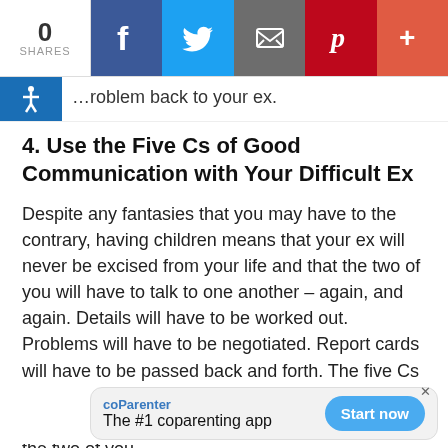0 SHARES | Facebook | Twitter | Email | Pinterest | More
…roblem back to your ex.
4. Use the Five Cs of Good Communication with Your Difficult Ex
Despite any fantasies that you may have to the contrary, having children means that your ex will never be excised from your life and that the two of you will have to talk to one another – again, and again. Details will have to be worked out. Problems will have to be negotiated. Report cards will have to be passed back and forth. The five Cs of good communication with ex-partners can go a long way to smoothing troubled waters between the two of you.
1. [partially visible] …ex … ay,
[Figure (infographic): coParenter app advertisement banner: logo 'coParenter', tagline 'The #1 coparenting app', blue 'Start now' button, and a close X button]